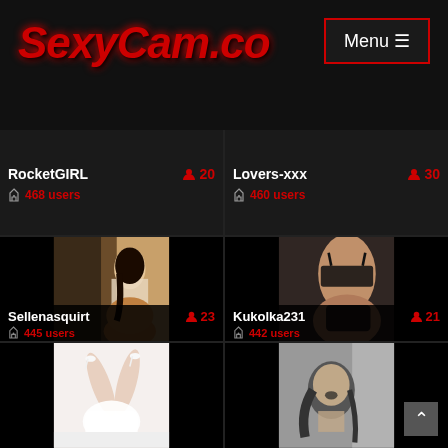SexyCam.co
Menu ☰
RocketGIRL | 20 | 468 users
Lovers-xxx | 30 | 460 users
[Figure (photo): Woman in white sweater and bikini bottoms standing near a door, warm lighting]
Sellenasquirt | 23 | 445 users
[Figure (photo): Person in black lingerie, dark background]
Kukolka231 | 21 | 442 users
[Figure (photo): Legs in white heels on a bed, white lingerie, black and white tones]
[Figure (photo): Woman with head back, black and white photo]